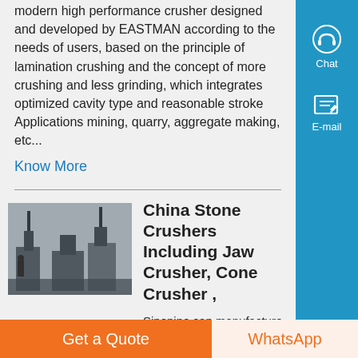modern high performance crusher designed and developed by EASTMAN according to the needs of users, based on the principle of lamination crushing and the concept of more crushing and less grinding, which integrates optimized cavity type and reasonable stroke Applications mining, quarry, aggregate making, etc...
Know More
[Figure (photo): Photo of industrial stone crusher machinery]
China Stone Crushers Including Jaw Crusher, Cone Crusher ,
Sinonine can manufacture all kinds stone crusher including jaw crusher, cone crusher, impact crusher, VSI crusher, hammer crusher ,roller crusher etc Jaw crusher Jaw Crushers is
Get a Quote
WhatsApp